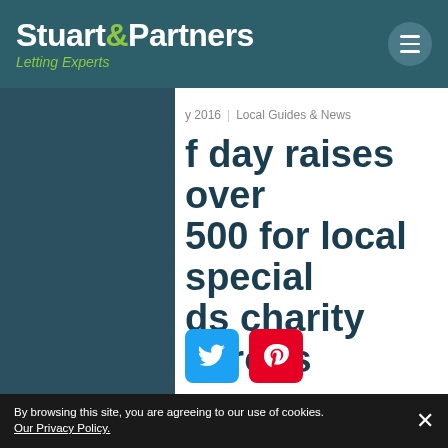Stuart&Partners — Letting Experts
y 2016 | Local Guides & News
f day raises over 500 for local special ds charity garoos
By browsing this site, you are agreeing to our use of cookies. Our Privacy Policy.